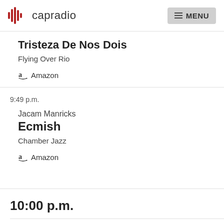capradio | MENU
Tristeza De Nos Dois
Flying Over Rio
Amazon
9:49 p.m.
Jacam Manricks
Ecmish
Chamber Jazz
Amazon
10:00 p.m.